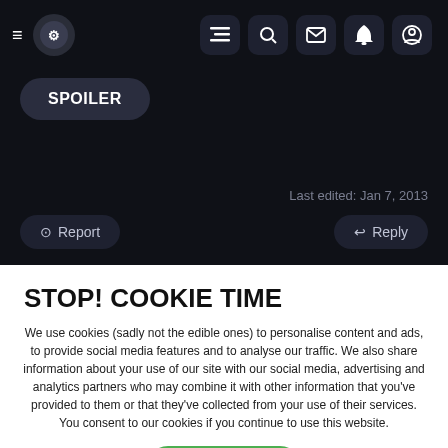[Figure (screenshot): Dark navigation bar with hamburger menu, circular logo icon, and 5 icon buttons (list, search, mail, bell, profile)]
SPOILER
Last edited: Jan 7, 2013
⊙ Report
↩ Reply
STOP! COOKIE TIME
We use cookies (sadly not the edible ones) to personalise content and ads, to provide social media features and to analyse our traffic. We also share information about your use of our site with our social media, advertising and analytics partners who may combine it with other information that you've provided to them or that they've collected from your use of their services. You consent to our cookies if you continue to use this website.
✓ ACCEPT